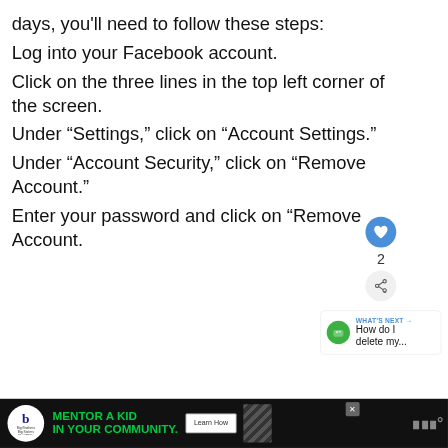days, you'll need to follow these steps:
Log into your Facebook account.
Click on the three lines in the top left corner of the screen.
Under “Settings,” click on “Account Settings.”
Under “Account Security,” click on “Remove Account.”
Enter your password and click on “Remove Account.
[Figure (screenshot): Social media UI overlay with heart/like button (blue circle), count of 2, share button, and a What's Next card showing 'How do I delete my...' with arrow]
[Figure (infographic): Advertisement banner: Big Brothers Big Sisters logo, green text 'MENTOR A KID IN YOUR COMMUNITY.' with Learn How button, diagonal stripes graphic, close X button, and right-side logo]